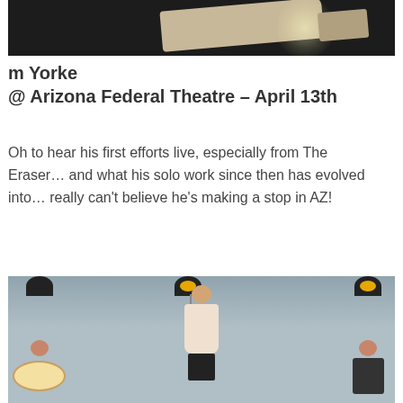[Figure (photo): Dark concert photo showing a guitar player on stage with a spotlight in the background]
m Yorke @ Arizona Federal Theatre – April 13th
Oh to hear his first efforts live, especially from The Eraser… and what his solo work since then has evolved into… really can't believe he's making a stop in AZ!
[Figure (photo): Female singer in a white lace dress performing on stage, holding a microphone, with band members including a drummer on the left and another musician on the right, against a blue-grey sky background]